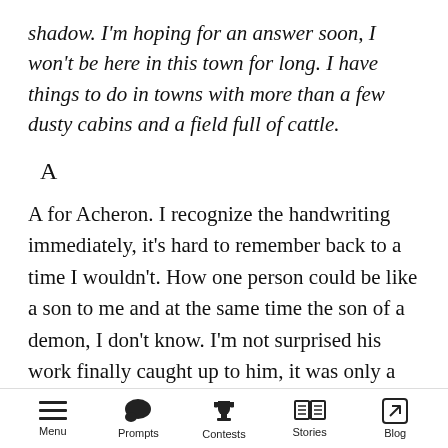shadow. I'm hoping for an answer soon, I won't be here in this town for long. I have things to do in towns with more than a few dusty cabins and a field full of cattle.
A
A for Acheron. I recognize the handwriting immediately, it's hard to remember back to a time I wouldn't. How one person could be like a son to me and at the same time the son of a demon, I don't know. I'm not surprised his work finally caught up to him, it was only a matter of time. I never would have expected him to last this long. But then again, the blood the courses
Menu  Prompts  Contests  Stories  Blog